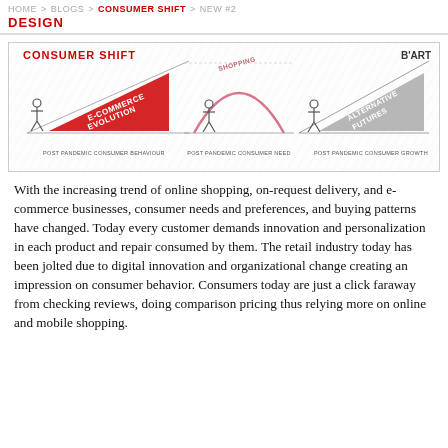Home > Blogs > CONSUMER SHIFT > NEW #2 DESIGN
[Figure (infographic): Consumer Shift infographic showing three panels: Post Pandemic Consumer Behaviour (red triangle labeled E-COMMERCE EVOLUTION with human figure), Post Pandemic Consumer Need (pink arch labeled SHOPPING(?) with human figure), Post Pandemic Consumer Growth (grey triangle labeled ALTERNATIVE FUTURES with human figure). B'ART logo top right. Title: CONSUMER SHIFT in red.]
With the increasing trend of online shopping, on-request delivery, and e-commerce businesses, consumer needs and preferences, and buying patterns have changed. Today every customer demands innovation and personalization in each product and repair consumed by them. The retail industry today has been jolted due to digital innovation and organizational change creating an impression on consumer behavior. Consumers today are just a click faraway from checking reviews, doing comparison pricing thus relying more on online and mobile shopping.